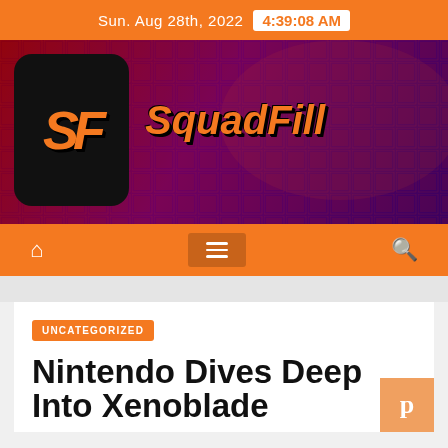Sun. Aug 28th, 2022  4:39:08 AM
[Figure (logo): SquadFill website banner logo with SF icon in black rounded square and SquadFill italic orange text on dark red/purple grid background]
Navigation bar with home icon, hamburger menu, and search icon
UNCATEGORIZED
Nintendo Dives Deep Into Xenoblade